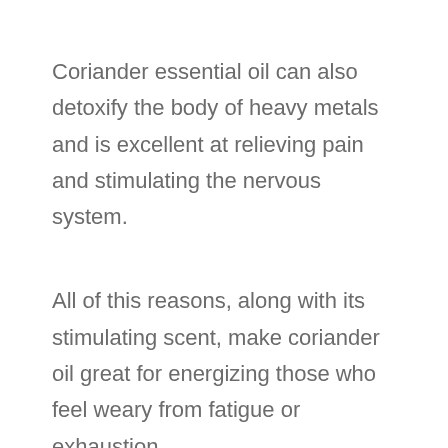Coriander essential oil can also detoxify the body of heavy metals and is excellent at relieving pain and stimulating the nervous system.
All of this reasons, along with its stimulating scent, make coriander oil great for energizing those who feel weary from fatigue or exhaustion.
In this energy boosting massage blend, coriander essential oil is blended to